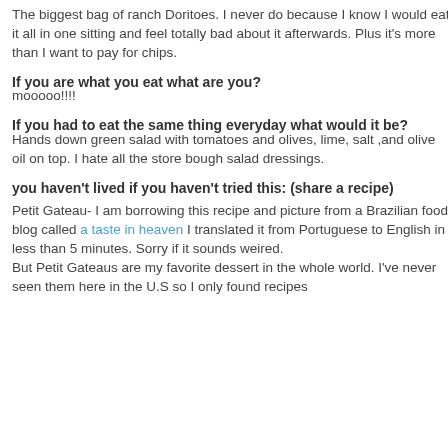The biggest bag of ranch Doritoes. I never do because I know I would eat it all in one sitting and feel totally bad about it afterwards. Plus it's more than I want to pay for chips.
If you are what you eat what are you?
mooooo!!!!
If you had to eat the same thing everyday what would it be?
Hands down green salad with tomatoes and olives, lime, salt ,and olive oil on top. I hate all the store bough salad dressings.
you haven't lived if you haven't tried this: (share a recipe)
Petit Gateau- I am borrowing this recipe and picture from a Brazilian food blog called a taste in heaven I translated it from Portuguese to English in less than 5 minutes. Sorry if it sounds weired.
But Petit Gateaus are my favorite dessert in the whole world. I've never seen them here in the U.S so I only found recipes